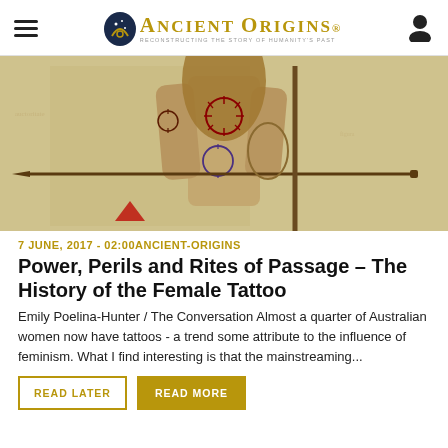Ancient Origins — Reconstructing the story of humanity's past
[Figure (illustration): Historical illustration of a heavily tattooed woman holding a spear, wearing a fur/hide garment, with ornate tattoo designs covering her arms and torso. Background is aged parchment-colored.]
7 JUNE, 2017 - 02:00 ANCIENT-ORIGINS
Power, Perils and Rites of Passage – The History of the Female Tattoo
Emily Poelina-Hunter / The Conversation Almost a quarter of Australian women now have tattoos - a trend some attribute to the influence of feminism. What I find interesting is that the mainstreaming...